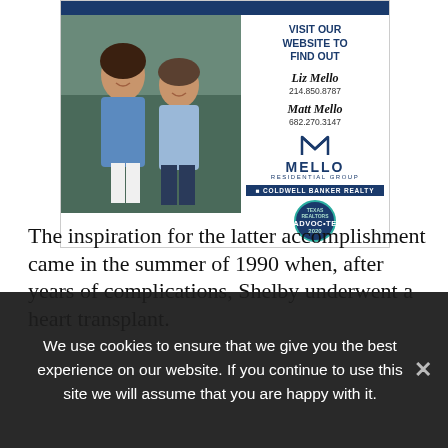[Figure (photo): Advertisement for Mello Residential Group at Coldwell Banker Realty. Shows a photo of two people (Liz Mello and Matt Mello) smiling, with contact information and logo on the right side. Includes text: VISIT OUR WEBSITE TO FIND OUT, Liz Mello 214.850.8787, Matt Mello 682.270.3147, MELLO RESIDENTIAL GROUP, COLDWELL BANKER REALTY, ADVOCATE 2020.]
The inspiration for the latter accomplishment came in the summer of 1990 when, after years of complications, Shelby underwent a heart transplant.
We use cookies to ensure that we give you the best experience on our website. If you continue to use this site we will assume that you are happy with it.